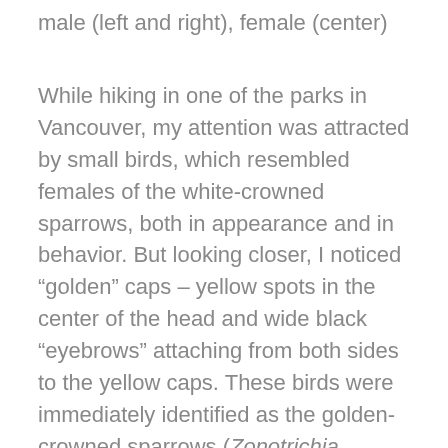male (left and right), female (center)
While hiking in one of the parks in Vancouver, my attention was attracted by small birds, which resembled females of the white-crowned sparrows, both in appearance and in behavior. But looking closer, I noticed “golden” caps – yellow spots in the center of the head and wide black “eyebrows” attaching from both sides to the yellow caps. These birds were immediately identified as the golden-crowned sparrows (Zonotrichia atricapilla), which inhabit the taiga forests in the uplands of the western edge of North